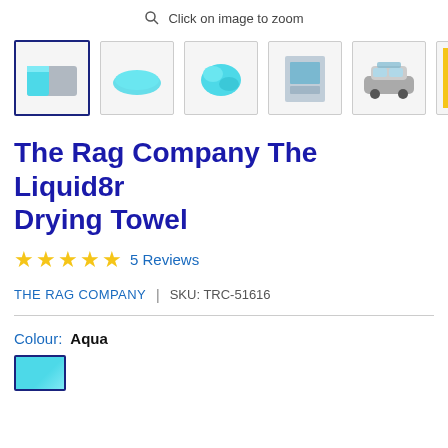Click on image to zoom
[Figure (photo): Seven product thumbnail images of The Rag Company Liquid8r Drying Towel in aqua color, showing folded towels, product packaging, car detailing use, and close-up texture. The first thumbnail is selected with a dark blue border.]
The Rag Company The Liquid8r Drying Towel
★★★★★ 5 Reviews
THE RAG COMPANY | SKU: TRC-51616
Colour: Aqua